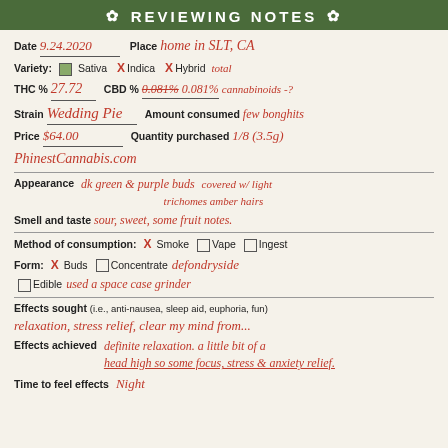✿ REVIEWING NOTES ✿
Date: 9.24.2020   Place: home in SLT, CA
Variety: Sativa  X Indica  X Hybrid
THC % 27.72  CBD % [crossed out] 0.081%  total cannabinoids -?
Strain: Wedding Pie   Amount consumed: few bonghits
Price: $64.00   Quantity purchased: 1/8 (3.5g)
PhinestCannabis.com
Appearance: dk green & purple buds covered w/ light trichomes amber hairs
Smell and taste: sour, sweet, some fruit notes.
Method of consumption: X Smoke  Vape  Ingest
Form: X Buds  Concentrate: defondryside
Edible: used a space case grinder
Effects sought (i.e., anti-nausea, sleep aid, euphoria, fun): relaxation, stress relief, clear my mind from...
Effects achieved: definite relaxation. a little bit of a head high so some focus, stress & anxiety relief.
Time to feel effects: Night